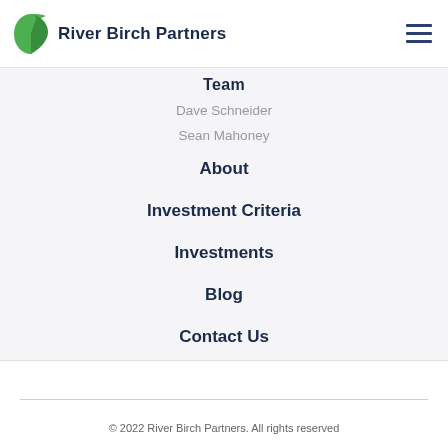River Birch Partners
Team
Dave Schneider
Sean Mahoney
About
Investment Criteria
Investments
Blog
Contact Us
© 2022 River Birch Partners. All rights reserved